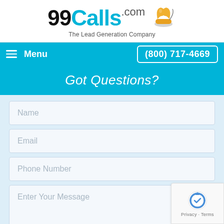[Figure (logo): 99Calls.com logo with orange telephone icon and tagline 'The Lead Generation Company']
Menu | (800) 717-4669
Got Questions?
Name
Email
Phone Number
Enter Your Message
[Figure (other): reCAPTCHA badge with Privacy and Terms links]